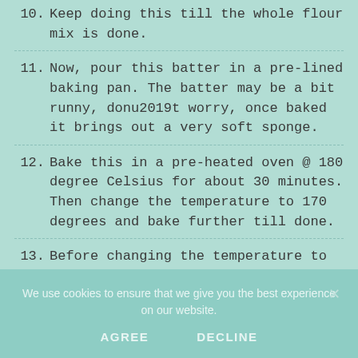10. Keep doing this till the whole flour mix is done.
11. Now, pour this batter in a pre-lined baking pan. The batter may be a bit runny, donu2019t worry, once baked it brings out a very soft sponge.
12. Bake this in a pre-heated oven @ 180 degree Celsius for about 30 minutes. Then change the temperature to 170 degrees and bake further till done.
13. Before changing the temperature to 170 degrees, check your cake once. The center
We use cookies to ensure that we give you the best experience on our website.
AGREE    DECLINE